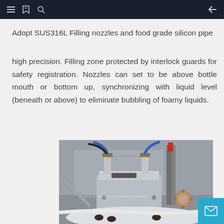Navigation bar with menu, bookmark, search, and back icons
Adopt SUS316L Filling nozzles and food grade silicon pipe
high precision. Filling zone protected by interlock guards for safety registration. Nozzles can set to be above bottle mouth or bottom up, synchronizing with liquid level (beneath or above) to eliminate bubbling of foamy liquids.
[Figure (photo): Close-up photo of industrial filling machine nozzles with stainless steel components, tubes, fittings, and a rotary dial mechanism visible. A watermark reads 'NANO & VIPETHAI PACKAGING MACHINERY'.]